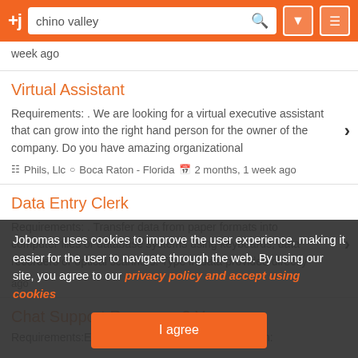+j  chino valley
week ago
Virtual Assistant
Requirements: . We are looking for a virtual executive assistant that can grow into the right hand person for the owner of the company. Do you have amazing organizational
Phils, Llc   Boca Raton - Florida   2 months, 1 week ago
Data Entry Clerk
Requirements: . Transfer data from paper formats into computer files or database systems using keyboards, data recorders or optical scanners. Type in data provided directly
Chat Support Repres... 2 Years
Requirements:Email Support Skills and Qualification:
Jobomas uses cookies to improve the user experience, making it easier for the user to navigate through the web. By using our site, you agree to our privacy policy and accept using cookies
I agree